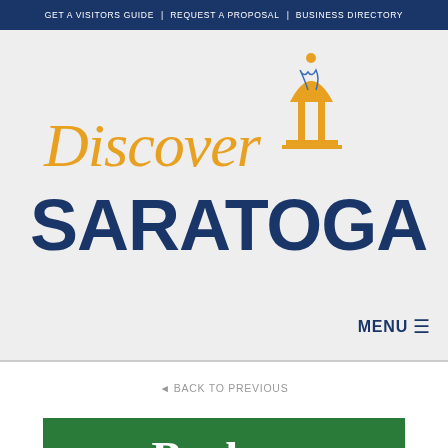GET A VISITORS GUIDE | REQUEST A PROPOSAL | BUSINESS DIRECTORY
[Figure (logo): Discover Saratoga logo with golden dome/fountain icon above the 'i' in Discover, with SARATOGA in large dark blue bold letters below]
MENU ☰
◄ BACK TO PREVIOUS
[Figure (screenshot): Green banner with white serif text reading 'Poohan' (partial, cropped at bottom)]